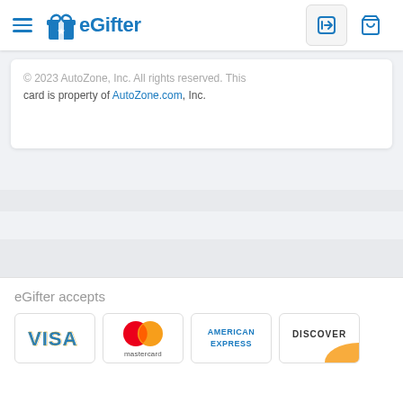eGifter
© 2023 AutoZone, Inc. All rights reserved. This card is property of AutoZone.com, Inc.
eGifter accepts
[Figure (logo): Visa, Mastercard, American Express, Discover payment logos]